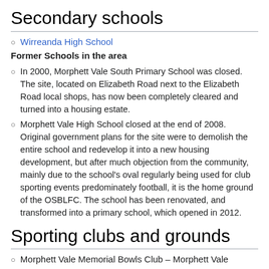Secondary schools
Wirreanda High School
Former Schools in the area
In 2000, Morphett Vale South Primary School was closed. The site, located on Elizabeth Road next to the Elizabeth Road local shops, has now been completely cleared and turned into a housing estate.
Morphett Vale High School closed at the end of 2008. Original government plans for the site were to demolish the entire school and redevelop it into a new housing development, but after much objection from the community, mainly due to the school's oval regularly being used for club sporting events predominately football, it is the home ground of the OSBLFC. The school has been renovated, and transformed into a primary school, which opened in 2012.
Sporting clubs and grounds
Morphett Vale Memorial Bowls Club – Morphett Vale